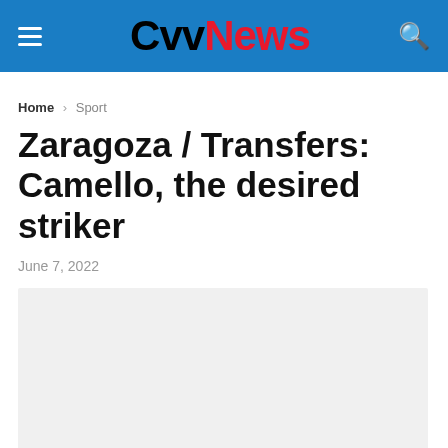CvvNews
Home > Sport
Zaragoza / Transfers: Camello, the desired striker
June 7, 2022
[Figure (photo): Article image placeholder (light gray background)]